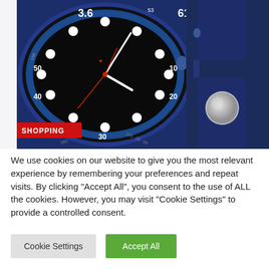[Figure (photo): Apple Watch Series 6 in blue aluminum with deep navy sport band, showing the watch face with 3.6, 61°, 50, 40, 20 numerals and white dot hour markers on a dark blue dial. On the right side of the image, the band and Digital Crown/side button are visible. A red 'SHOPPING' label badge appears in the lower left of the image.]
We use cookies on our website to give you the most relevant experience by remembering your preferences and repeat visits. By clicking "Accept All", you consent to the use of ALL the cookies. However, you may visit "Cookie Settings" to provide a controlled consent.
Cookie Settings
Accept All